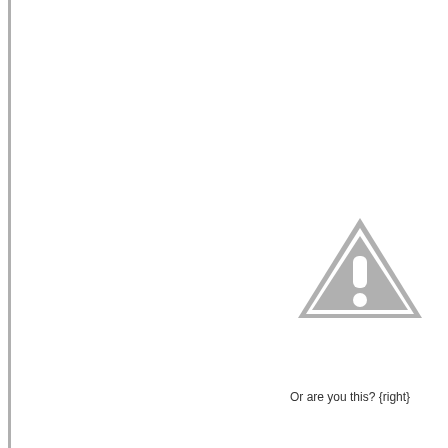[Figure (illustration): A gray warning triangle icon with a white exclamation mark inside, positioned in the upper-right area of the page.]
Or are you this? {right}